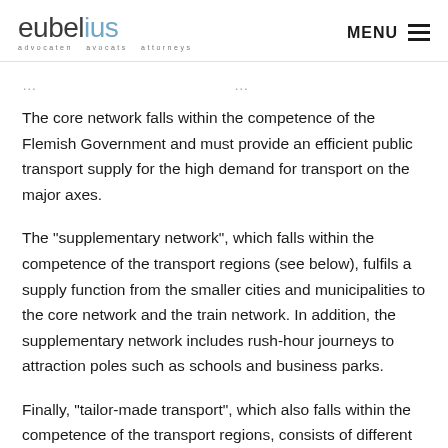eubelius | advocaten avocats attorneys | MENU
The core network falls within the competence of the Flemish Government and must provide an efficient public transport supply for the high demand for transport on the major axes.
The "supplementary network", which falls within the competence of the transport regions (see below), fulfils a supply function from the smaller cities and municipalities to the core network and the train network. In addition, the supplementary network includes rush-hour journeys to attraction poles such as schools and business parks.
Finally, "tailor-made transport", which also falls within the competence of the transport regions, consists of different means of transport (such as dial-a-ride buses and shared